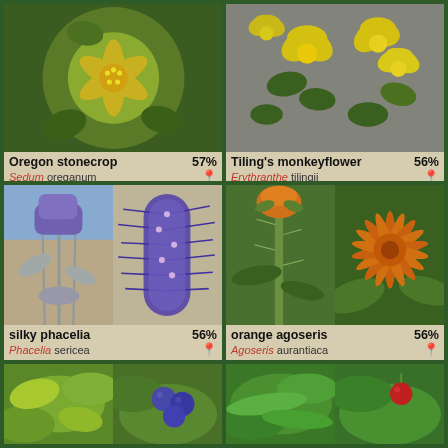[Figure (photo): Oregon stonecrop (Sedum oreganum) - yellow star-shaped flower with green succulent leaves, close-up macro photograph]
Oregon stonecrop 57%
Sedum oreganum
[Figure (photo): Tiling's monkeyflower (Erythranthe tilingii) - yellow tubular flowers growing among green leaves on rocky surface]
Tiling's monkeyflower 56%
Erythranthe tilingii
[Figure (photo): Silky phacelia (Phacelia sericea) - two photos: left shows silvery-leafed plant in landscape, right shows close-up of purple spiky flower spike]
silky phacelia 56%
Phacelia sericea
[Figure (photo): Orange agoseris (Agoseris aurantiaca) - two photos: left shows orange dandelion-like flower bud with hairy stem, right shows open orange composite flower]
orange agoseris 56%
Agoseris aurantiaca
[Figure (photo): Bottom left plant - two photos showing green leaves and blue/purple berries]
[Figure (photo): Bottom right plant - two photos showing green leaves and a single red berry]